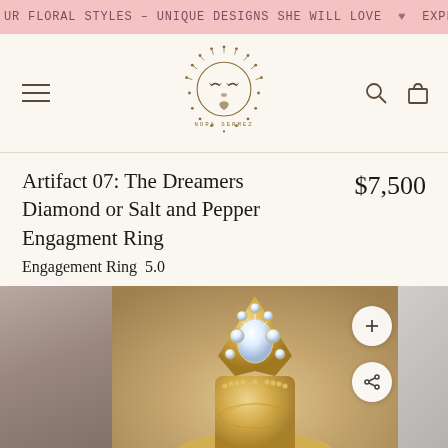UR FLORAL STYLES – UNIQUE DESIGNS SHE WILL LOVE ♥ EXPLORE OUR
[Figure (logo): Nora Sermez brand logo: decorative sun/mandala face with the text NORA SERMEZ below it, in gold/brown tones]
Artifact 07: The Dreamers Diamond or Salt and Pepper Engagment Ring
Engagement Ring  5.0
$7,500
[Figure (photo): Close-up photo of an ornate gold engagement ring with diamonds and decorative filigree crown setting, on a blurred beige/neutral background]